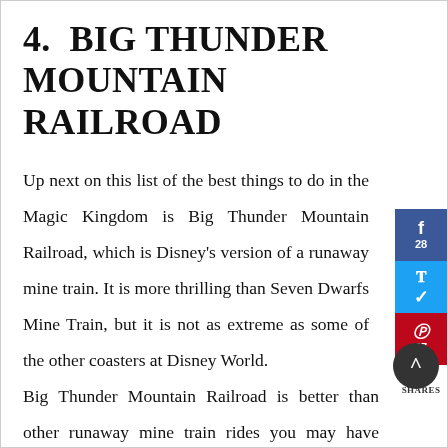4.  BIG THUNDER MOUNTAIN RAILROAD
Up next on this list of the best things to do in the Magic Kingdom is Big Thunder Mountain Railroad, which is Disney’s version of a runaway mine train. It is more thrilling than Seven Dwarfs Mine Train, but it is not as extreme as some of the other coasters at Disney World.
[Figure (infographic): Social sharing sidebar with Facebook (28 shares), Twitter, and Pinterest (27 shares) buttons, total 55 SHARES]
Big Thunder Mountain Railroad is better than other runaway mine train rides you may have experienced because of all the details. During your “wildest ride in the